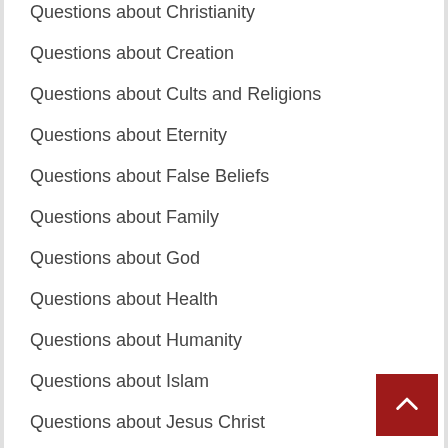Questions about Christianity
Questions about Creation
Questions about Cults and Religions
Questions about Eternity
Questions about False Beliefs
Questions about Family
Questions about God
Questions about Health
Questions about Humanity
Questions about Islam
Questions about Jesus Christ
Questions about Judaism